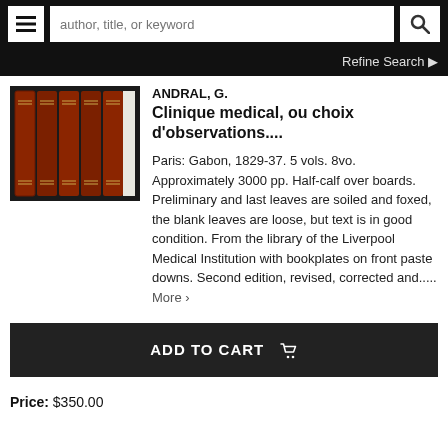author, title, or keyword | Refine Search
[Figure (photo): Five red leather-bound volumes of Clinique medical standing upright on a dark surface]
ANDRAL, G.
Clinique medical, ou choix d'observations....
Paris: Gabon, 1829-37. 5 vols. 8vo. Approximately 3000 pp. Half-calf over boards. Preliminary and last leaves are soiled and foxed, the blank leaves are loose, but text is in good condition. From the library of the Liverpool Medical Institution with bookplates on front paste downs. Second edition, revised, corrected and..... More ›
ADD TO CART
Price: $350.00